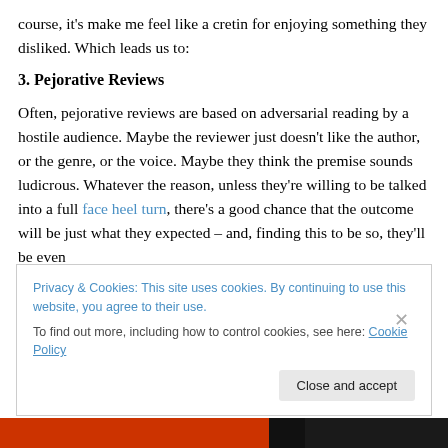course, it's make me feel like a cretin for enjoying something they disliked. Which leads us to:
3. Pejorative Reviews
Often, pejorative reviews are based on adversarial reading by a hostile audience. Maybe the reviewer just doesn't like the author, or the genre, or the voice. Maybe they think the premise sounds ludicrous. Whatever the reason, unless they're willing to be talked into a full face heel turn, there's a good chance that the outcome will be just what they expected – and, finding this to be so, they'll be even
Privacy & Cookies: This site uses cookies. By continuing to use this website, you agree to their use.
To find out more, including how to control cookies, see here: Cookie Policy
Close and accept